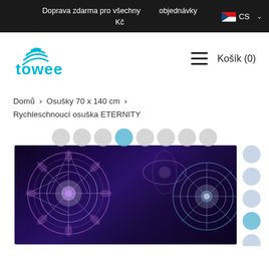Doprava zdarma pro všechny objednávky Kč CS
[Figure (logo): Towee brand logo with cyan swoosh icon and 'towee' text in cyan]
Košík (0)
Domů › Osušky 70 x 140 cm › Rychleschnoucí osuška ETERNITY
[Figure (photo): Product photo of ETERNITY quick-dry towel showing dark background with purple and teal mandala circular patterns, accompanied by a column of round certification/award stickers on the right side]